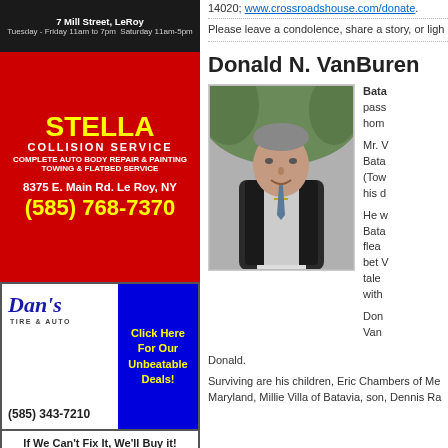[Figure (photo): Advertisement banner for a business at 7 Mill Street, LeRoy. Dark background with business hours Tuesday-Friday 11am to 7pm, Saturday 11am-5pm.]
[Figure (infographic): Stella Collision Service advertisement. Red background with yellow text. Complete Auto Body Repair & Painting, Towing & Flatbed Service. 8375 E. Main Rd. Le Roy, NY. Phone (585) 768-7370.]
[Figure (infographic): Dan's Tire & Auto advertisement. White background with blue logo and blue click-here box. Phone (585) 343-7210. If We Can't Fix It, We'll Buy it!]
Recent comments
I thought you did as good a
by: John Roach
Well stated, Joanne.
by: Howard B. Owens
https://www.irs.gov/pub/irs
by: C. M. Barons
Thanks, Mark. I don't like
by: Howard B. Owens
another good opinion piece.
by: Mark Potwora
Howard well said. Free Speech
by: Mark Potwora
14020; www.crossroadshouse.com/donate.
Please leave a condolence, share a story, or ligh
Donald N. VanBuren
[Figure (photo): Black and white photo of Donald N. VanBuren, an elderly man wearing a dark vest and white shirt with a cross necklace, standing outdoors with green trees in background, smiling.]
Bata... pass... hom...
Mr. VanBuren... Bata... (Tow... his c...
He w... Bata... flea... bet... tale... with...
Don... Van...
Donald.
Surviving are his children, Eric Chambers of Me... Maryland, Millie Villa of Batavia, son, Dennis Ra...